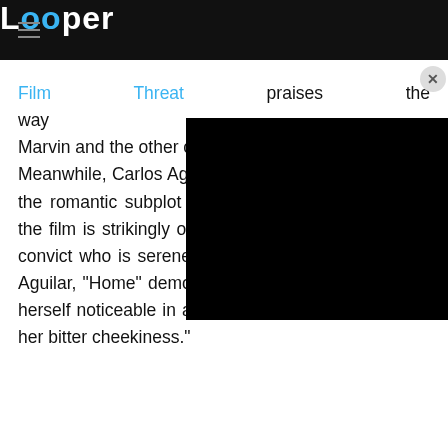Looper
[Figure (screenshot): Black video player overlay in upper right area of page]
Film Threat praises the way Marvin and the other characters with empathy. Meanwhile, Carlos Aguilar from The Wrap writes that the romantic subplot may be sappy and cliché, but the film is strikingly original in its portrayal of an ex-convict who is serene instead of bitter. According to Aguilar, "Home" demonstrates that Bates "can make herself noticeable in any given role with the might of her bitter cheekiness."